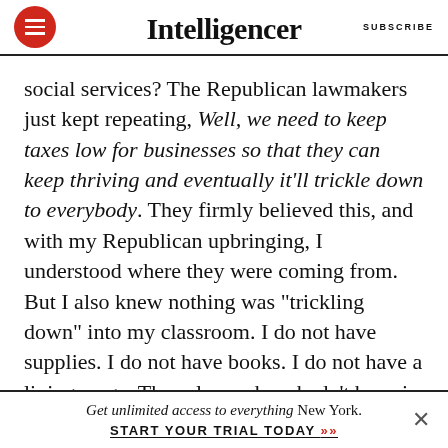Intelligencer  SUBSCRIBE
social services? The Republican lawmakers just kept repeating, Well, we need to keep taxes low for businesses so that they can keep thriving and eventually it'll trickle down to everybody. They firmly believed this, and with my Republican upbringing, I understood where they were coming from. But I also knew nothing was “trickling down” into my classroom. I do not have supplies. I do not have books. I do not have a living wage. These lawmakers hadn’t been in the trenches with students who are really in need.
Get unlimited access to everything New York. START YOUR TRIAL TODAY »